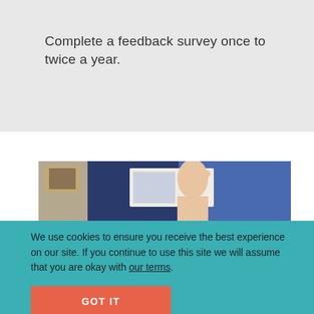Complete a feedback survey once to twice a year.
[Figure (photo): Partial photo of a person pointing at a screen or document, with a framed picture visible in the background against a dark blue wall]
We use cookies to ensure you receive the best experience on our site. If you continue to use this site we will assume that you are okay with our terms.
GOT IT